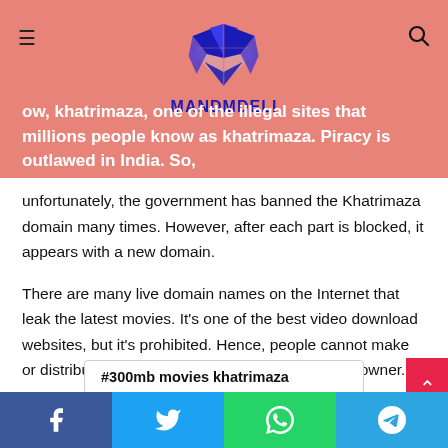MANDMDELI logo and navigation header with salmon/coral background
ow, khatrimaza, one of the illegal sites that millions people know as khatrimaza. Piracy is outlawed in India. So unfortunately, the government has banned the Khatrimaza domain many times. However, after each part is blocked, it appears with a new domain.
There are many live domain names on the Internet that leak the latest movies. It's one of the best video download websites, but it's prohibited. Hence, people cannot make or distribute any copy without the approval of the owner.
#300mb movies khatrimaza
#khatrimaza 1080p movies
Social share buttons: Facebook, Twitter, WhatsApp, Telegram